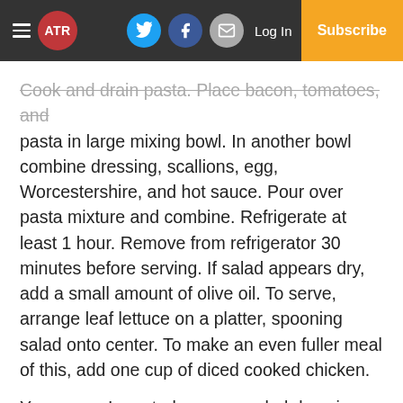ATR | Log In | Subscribe
Cook and drain pasta. Place bacon, tomatoes, and pasta in large mixing bowl. In another bowl combine dressing, scallions, egg, Worcestershire, and hot sauce. Pour over pasta mixture and combine. Refrigerate at least 1 hour. Remove from refrigerator 30 minutes before serving. If salad appears dry, add a small amount of olive oil. To serve, arrange leaf lettuce on a platter, spooning salad onto center. To make an even fuller meal of this, add one cup of diced cooked chicken.
Years ago, I created my own salad dressing recipe, based loosely on one I found in a Signal Mountain